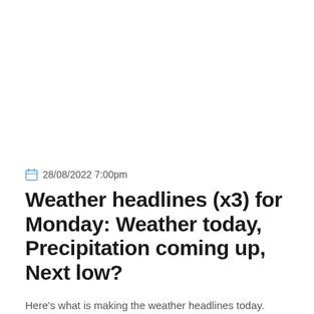28/08/2022 7:00pm
Weather headlines (x3) for Monday: Weather today, Precipitation coming up, Next low?
Here's what is making the weather headlines today. MAINLY SETTLED TODAY, SHOWERS EASTERN NORTH ISLAND A high pressure system brings…